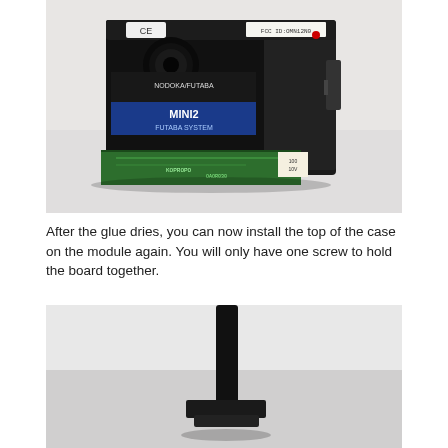[Figure (photo): Close-up photo of a black electronic module (KODAK/Futaba MINI2 receiver) with a circuit board visible at the bottom, photographed on a white surface.]
After the glue dries, you can now install the top of the case on the module again. You will only have one screw to hold the board together.
[Figure (photo): Photo of a black electronic component or mounting hardware, partially visible at the bottom of the page, on a white background.]